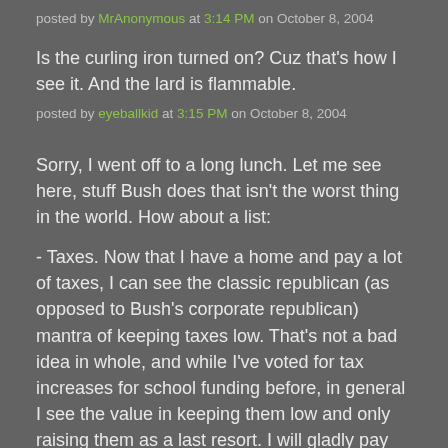posted by MrAnonymous at 3:14 PM on October 8, 2004
Is the curling iron turned on? Cuz that's how I see it. And the lard is flammable.
posted by eyeballkid at 3:15 PM on October 8, 2004
Sorry, I went off to a long lunch. Let me see here, stuff Bush does that isn't the worst thing in the world. How about a list:
- Taxes. Now that I have a home and pay a lot of taxes, I can see the classic republican (as opposed to Bush's corporate republican) mantra of keeping taxes low. That's not a bad idea in whole, and while I've voted for tax increases for school funding before, in general I see the value in keeping them low and only raising them as a last resort. I will gladly pay taxes if I could tell where the money is going, but otherwise they seem unfair at time (granted, I could have